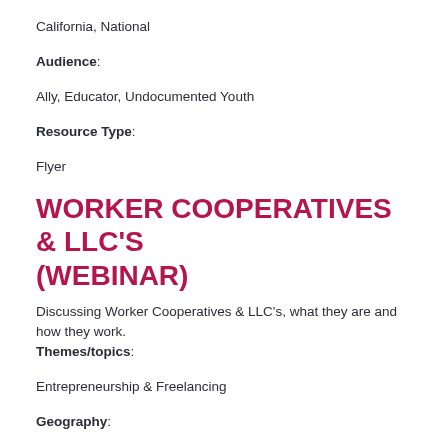California, National
Audience:
Ally, Educator, Undocumented Youth
Resource Type:
Flyer
WORKER COOPERATIVES & LLC'S (WEBINAR)
Discussing Worker Cooperatives & LLC's, what they are and how they work.
Themes/topics:
Entrepreneurship & Freelancing
Geography:
California, National